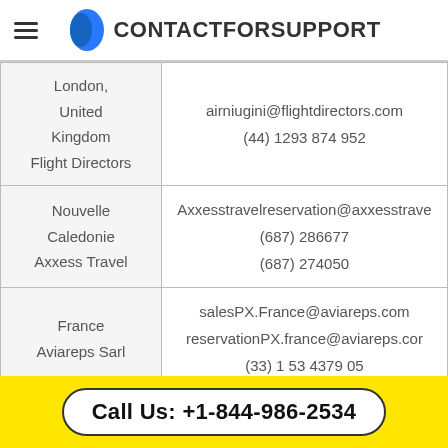CONTACTFORSUPPORT
| Location/Agent | Contact |
| --- | --- |
| London, United Kingdom
Flight Directors | airniugini@flightdirectors.com
(44) 1293 874 952 |
| Nouvelle Caledonie
Axxess Travel | Axxesstravelreservation@axxesstrave
(687) 286677
(687) 274050 |
| France
Aviareps Sarl | salesPX.France@aviareps.com
reservationPX.france@aviareps.com
(33) 1 53 4379 05 |
| Rome | airnuigini@spazio.aero |
Call Us: +1-844-986-2534